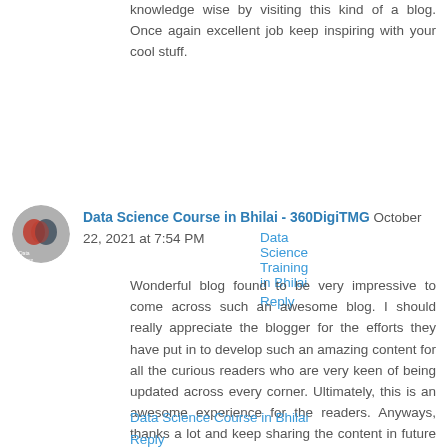knowledge wise by visiting this kind of a blog. Once again excellent job keep inspiring with your cool stuff.
Data Science Training in Bhilai
Reply
Data Science Course in Bhilai - 360DigiTMG October 22, 2021 at 7:54 PM
Wonderful blog found to be very impressive to come across such an awesome blog. I should really appreciate the blogger for the efforts they have put in to develop such an amazing content for all the curious readers who are very keen of being updated across every corner. Ultimately, this is an awesome experience for the readers. Anyways, thanks a lot and keep sharing the content in future too.
Data Science Course in Bhilai
Reply